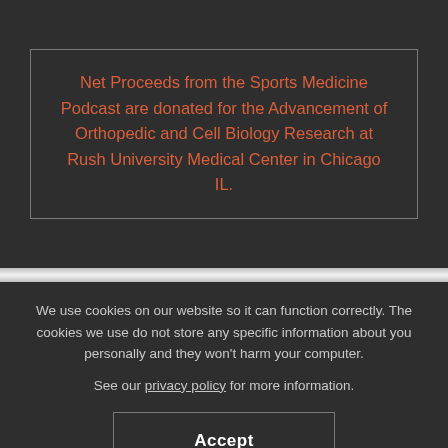Net Proceeds from the Sports Medicine Podcast are donated for the Advancement of Orthopedic and Cell Biology Research at Rush University Medical Center in Chicago IL.
We use cookies on our website so it can function correctly. The cookies we use do not store any specific information about you personally and they won't harm your computer.
See our privacy policy for more information.
Accept